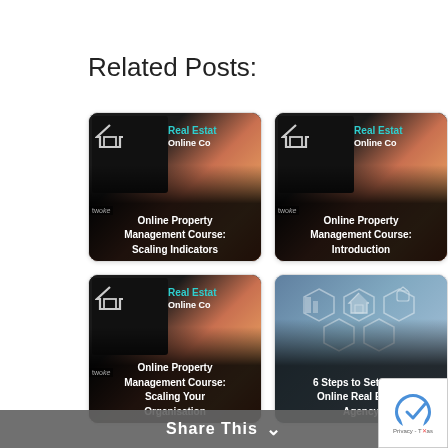Related Posts:
[Figure (photo): Thumbnail for Online Property Management Course: Scaling Indicators — shows a tablet with 'Real Estate Online Course' text overlay on a sunset background]
Online Property Management Course: Scaling Indicators
[Figure (photo): Thumbnail for Online Property Management Course: Introduction — shows a tablet with 'Real Estate Online Course' text overlay on a sunset background]
Online Property Management Course: Introduction
[Figure (photo): Thumbnail for Online Property Management Course: Scaling Your Organisation — shows a tablet with 'Real Estate Online Course' text overlay on a sunset background]
Online Property Management Course: Scaling Your Organisation
[Figure (photo): Thumbnail for 6 Steps to Set-up an Online Real Estate Agency — shows hexagonal house icons on a blue background]
6 Steps to Set-up an Online Real Estate Agency
Share This
Privacy - Terms